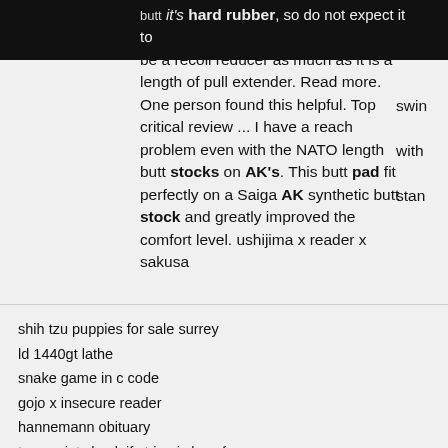it's hard rubber, so do not expect it to be a recoil reducer as much as it is a length of pull extender. Read more. One person found this helpful. Top critical review ... I have a reach problem even with the NATO length butt stocks on AK's. This butt pad fit perfectly on a Saiga AK synthetic butt stock and greatly improved the comfort level. ushijima x reader x sakusa
shih tzu puppies for sale surrey
ld 1440gt lathe
snake game in c code
gojo x insecure reader
hannemann obituary
typescript check if string is keyof enum
diocese safe environment
old schools for sale australia